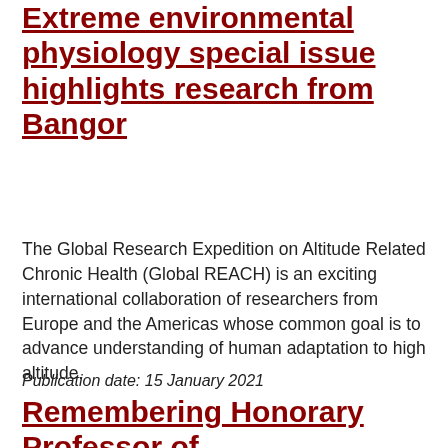Extreme environmental physiology special issue highlights research from Bangor
The Global Research Expedition on Altitude Related Chronic Health (Global REACH) is an exciting international collaboration of researchers from Europe and the Americas whose common goal is to advance understanding of human adaptation to high altitude.
Publication date: 15 January 2021
Remembering Honorary Professor of